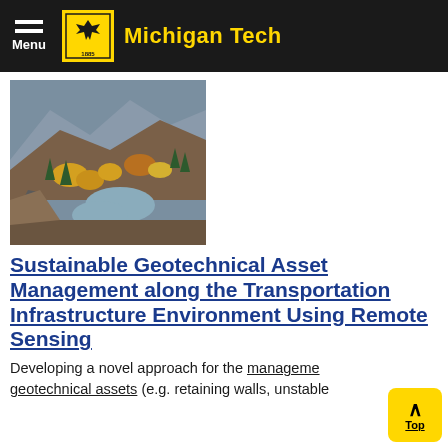Menu | Michigan Tech
[Figure (photo): Aerial view of a mountain road alongside a river with autumn foliage and rocky slopes]
Sustainable Geotechnical Asset Management along the Transportation Infrastructure Environment Using Remote Sensing
Developing a novel approach for the management of geotechnical assets (e.g. retaining walls, unstable